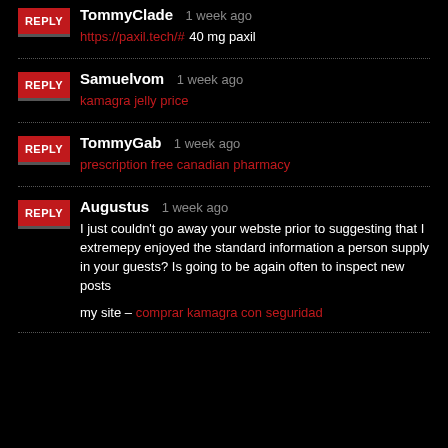TommyClade 1 week ago
https://paxil.tech/# 40 mg paxil
Samuelvom 1 week ago
kamagra jelly price
TommyGab 1 week ago
prescription free canadian pharmacy
Augustus 1 week ago
I just couldn’t go away your webste prior to suggesting that I extremepy enjoyed the standard information a person supply in your guests? Is going to be again often to inspect new posts
my site – comprar kamagra con seguridad